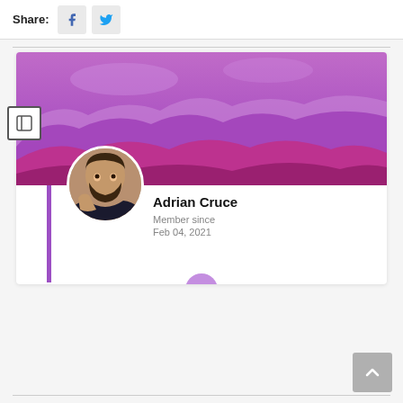Share:
[Figure (infographic): User profile card for Adrian Cruce with purple mountain banner background, circular avatar photo, and member since Feb 04, 2021 information]
Adrian Cruce
Member since
Feb 04, 2021